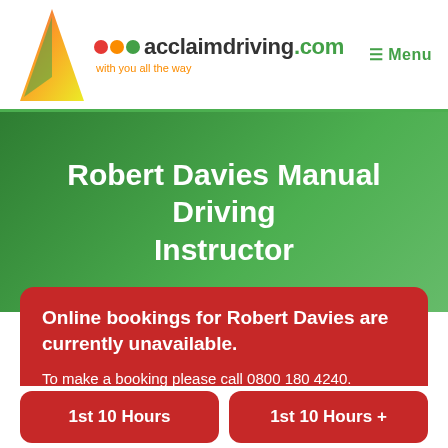acclaimdriving.com — with you all the way | Menu
Robert Davies Manual Driving Instructor
Online bookings for Robert Davies are currently unavailable. To make a booking please call 0800 180 4240.
1st 10 Hours
1st 10 Hours +